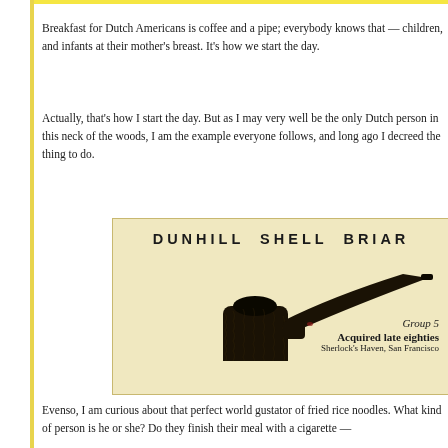Breakfast for Dutch Americans is coffee and a pipe; everybody knows that — children, and infants at their mother's breast. It's how we start the day.
Actually, that's how I start the day. But as I may very well be the only Dutch person in this neck of the woods, I am the example everyone follows, and long ago I decreed that to be the thing to do.
[Figure (photo): A Dunhill Shell Briar pipe (Group 5) on a tan/beige background card. The pipe is dark, textured briar with a long stem. Annotated: 'DUNHILL SHELL BRIAR' at top, 'Group 5', 'Acquired late eighties', 'Sherlock's Haven, San Francisco' on the right side.]
Evenso, I am curious about that perfect world gustator of fried rice noodles. What kind of person is he or she? Do they finish their meal with a cigarette —